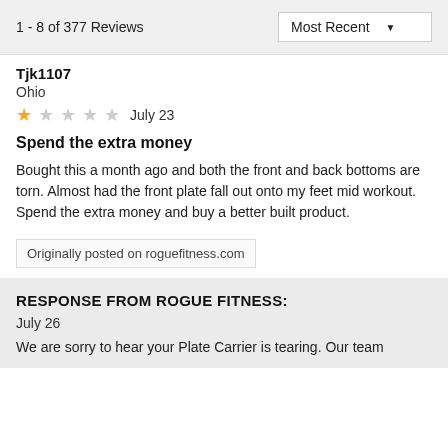1 - 8 of 377 Reviews   Most Recent
Tjk1107
Ohio
★☆☆☆☆  July 23
Spend the extra money
Bought this a month ago and both the front and back bottoms are torn. Almost had the front plate fall out onto my feet mid workout. Spend the extra money and buy a better built product.
Originally posted on roguefitness.com
RESPONSE FROM ROGUE FITNESS:
July 26
We are sorry to hear your Plate Carrier is tearing. Our team